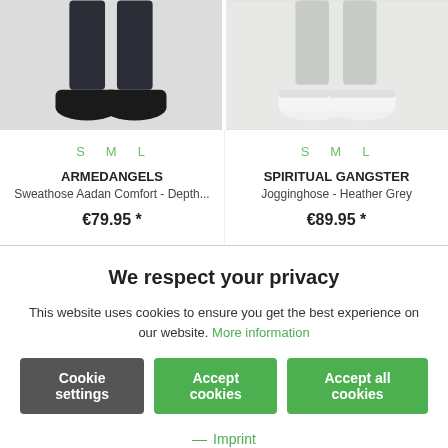[Figure (photo): Two product photos side by side: left shows dark sneakers/jogger pants lower body on grey background; right shows white sneakers lower body on grey background.]
S M L
S M L
ARMEDANGELS
Sweathose Aadan Comfort - Depth...
SPIRITUAL GANGSTER
Jogginghose - Heather Grey
€79.95 *
€89.95 *
We respect your privacy
This website uses cookies to ensure you get the best experience on our website. More information
Cookie settings
Accept cookies
Accept all cookies
— Imprint